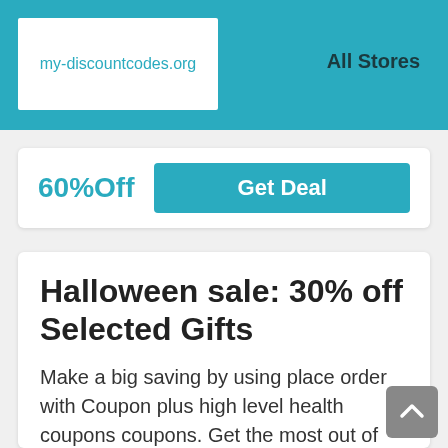my-discountcodes.org   All Stores
60%Off
Get Deal
Halloween sale: 30% off Selected Gifts
Make a big saving by using place order with Coupon plus high level health coupons coupons. Get the most out of your shopping adventure with verified Coupon on my-discountcodes.org. Check out now for super savings!